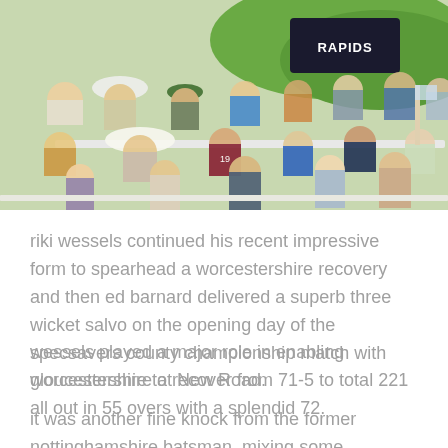[Figure (photo): Aerial view of a cricket crowd at a ground, spectators in stands watching the match, green outfield visible with a 'Rapids' logo banner, people wearing hats and summer clothing]
riki wessels continued his recent impressive form to spearhead a worcestershire recovery and then ed barnard delivered a superb three wicket salvo on the opening day of the specsavers county championship match with gloucestershire at New Road.
wessels played a major role in enabling worcestershire to recover from 71-5 to total 221 all out in 55 overs with a splendid 72.
it was another fine knock from the former nottinghamshire batsman, mixing some delightful touch play and cut shots with some solid...